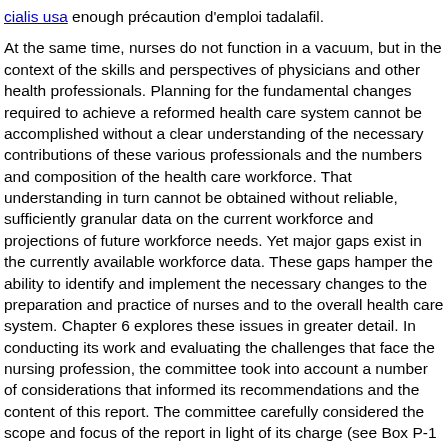cialis usa enough précaution d'emploi tadalafil.
At the same time, nurses do not function in a vacuum, but in the context of the skills and perspectives of physicians and other health professionals. Planning for the fundamental changes required to achieve a reformed health care system cannot be accomplished without a clear understanding of the necessary contributions of these various professionals and the numbers and composition of the health care workforce. That understanding in turn cannot be obtained without reliable, sufficiently granular data on the current workforce and projections of future workforce needs. Yet major gaps exist in the currently available workforce data. These gaps hamper the ability to identify and implement the necessary changes to the preparation and practice of nurses and to the overall health care system. Chapter 6 explores these issues in greater detail. In conducting its work and evaluating the challenges that face the nursing profession, the committee took into account a number of considerations that informed its recommendations and the content of this report. The committee carefully considered the scope and focus of the report in light of its charge (see Box P-1 in the preface to the report), the evidence that was available, costs associated with its recommendations, and implementation issues. Overall, the